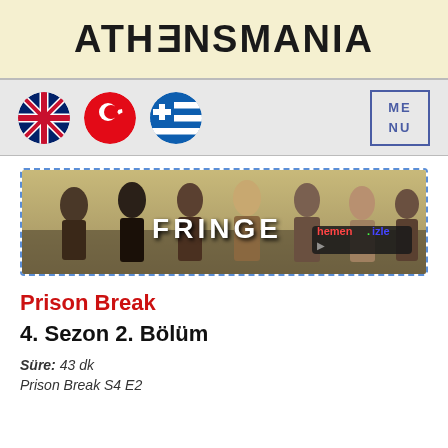ATHENSMANIA
[Figure (logo): Navigation bar with UK flag, Turkish flag, Greek flag icons and MENU button]
[Figure (photo): Fringe TV show banner image with cast photo and 'FRINGE hemen izle' text overlay]
Prison Break
4. Sezon 2. Bölüm
Süre: 43 dk
Prison Break S4 E2